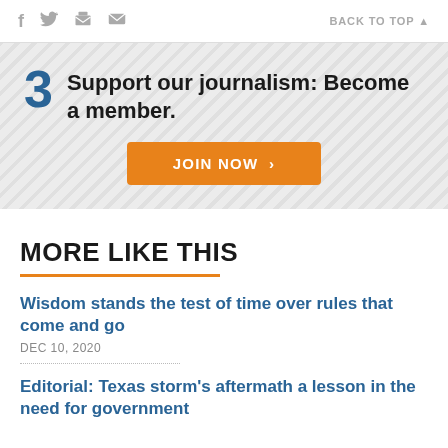f  [twitter]  [print]  [email]    BACK TO TOP ▲
3  Support our journalism: Become a member.
JOIN NOW ›
MORE LIKE THIS
Wisdom stands the test of time over rules that come and go
DEC 10, 2020
Editorial: Texas storm's aftermath a lesson in the need for government